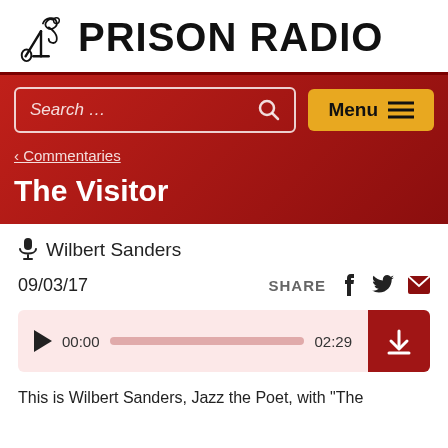[Figure (logo): Prison Radio logo with microphone icon and bold text 'PRISON RADIO']
[Figure (screenshot): Red banner with search box, Menu button, back navigation link '< Commentaries', and page title 'The Visitor']
🎤 Wilbert Sanders
09/03/17    SHARE
[Figure (other): Audio player showing 00:00 / 02:29 with play button, progress bar, and download button]
This is Wilbert Sanders, Jazz the Poet, with "The